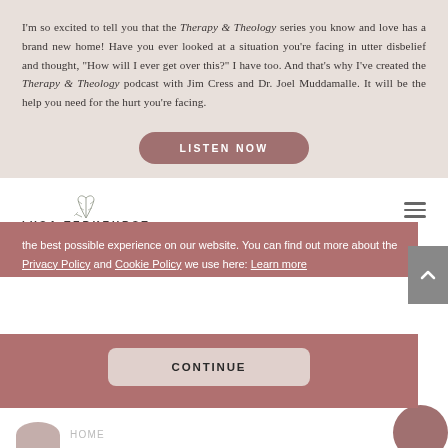I'm so excited to tell you that the Therapy & Theology series you know and love has a brand new home! Have you ever looked at a situation you're facing in utter disbelief and thought, "How will I ever get over this?" I have too. And that's why I've created the Therapy & Theology podcast with Jim Cress and Dr. Joel Muddamalle. It will be the help you need for the hurt you're facing.
[Figure (other): LISTEN NOW button — rounded rectangle button with text in white on dusty rose background]
[Figure (logo): Lysa TerKeurst logo with leaf/branch illustration above the text LYSA TERKEURST]
the best possible experience on our website. You can find out more about the Privacy Policy and Cookie Policy we use here: Learn more
[Figure (other): CONTINUE button — rounded rectangle on cookie consent banner]